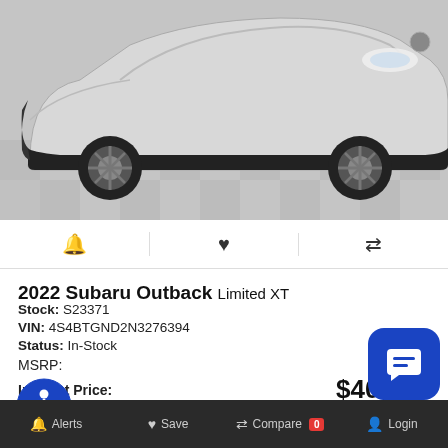[Figure (photo): Front view of a silver 2022 Subaru Outback Limited XT in a dealership showroom with checkered floor]
🔔  ♥  ⇌
2022 Subaru Outback Limited XT
Stock: S23371
VIN: 4S4BTGND2N3276394
Status: In-Stock
MSRP: $40,933
Internet Price: $40,250
Finance For: $5...
Alerts  Save  Compare 0  Login